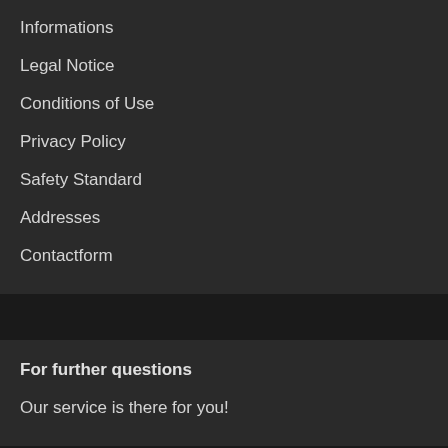Informations
Legal Notice
Conditions of Use
Privacy Policy
Safety Standard
Addresses
Contactform
For further questions
Our service is there for you!